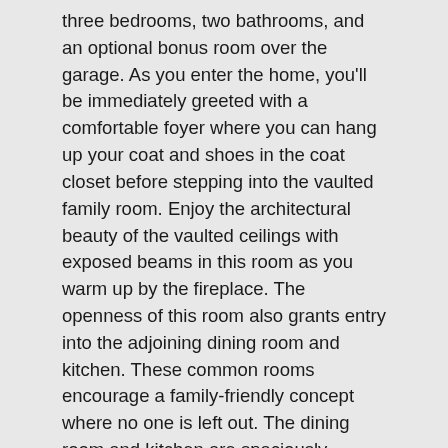three bedrooms, two bathrooms, and an optional bonus room over the garage. As you enter the home, you'll be immediately greeted with a comfortable foyer where you can hang up your coat and shoes in the coat closet before stepping into the vaulted family room. Enjoy the architectural beauty of the vaulted ceilings with exposed beams in this room as you warm up by the fireplace. The openness of this room also grants entry into the adjoining dining room and kitchen. These common rooms encourage a family-friendly concept where no one is left out. The dining room and kitchen are spaciously connected as if it were one space. With 9-foot ceilings, the kitchen features a prep-top island, window views over the sink, and a walk-in pantry.
The three bedrooms on the main floor are featured in a split layout with the primary suite privately located on one side of the home and the two secondary bedrooms on the opposite side. Before entering the primary suite, the mudroom and laundry room are located right off the garage. In this space, there is a bench for storing shoes and coats. The laundry room offers a sink to help fight tough stains and a little countertop space to